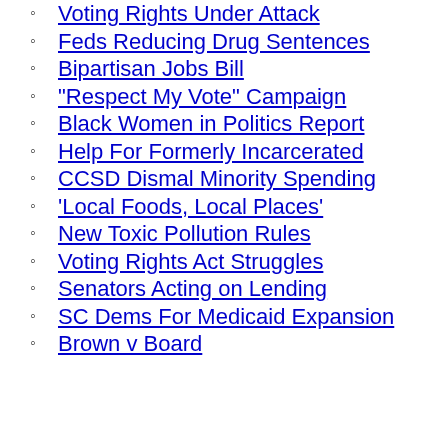Voting Rights Under Attack
Feds Reducing Drug Sentences
Bipartisan Jobs Bill
"Respect My Vote" Campaign
Black Women in Politics Report
Help For Formerly Incarcerated
CCSD Dismal Minority Spending
'Local Foods, Local Places'
New Toxic Pollution Rules
Voting Rights Act Struggles
Senators Acting on Lending
SC Dems For Medicaid Expansion
Brown v Board